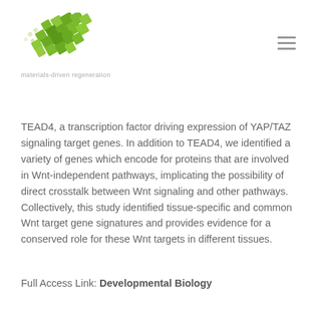[Figure (logo): Green diamond/pixel pattern logo for materials-driven regeneration]
materials-driven regeneration
TEAD4, a transcription factor driving expression of YAP/TAZ signaling target genes. In addition to TEAD4, we identified a variety of genes which encode for proteins that are involved in Wnt-independent pathways, implicating the possibility of direct crosstalk between Wnt signaling and other pathways. Collectively, this study identified tissue-specific and common Wnt target gene signatures and provides evidence for a conserved role for these Wnt targets in different tissues.
Full Access Link: Developmental Biology